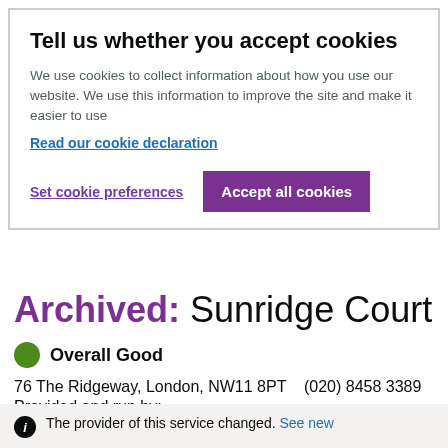Tell us whether you accept cookies
We use cookies to collect information about how you use our website. We use this information to improve the site and make it easier to use
Read our cookie declaration
Set cookie preferences
Accept all cookies
Archived: Sunridge Court
Overall Good
76 The Ridgeway, London, NW11 8PT    (020) 8458 3389
Provided and run by:
Sunridge Housing Association Limited
The provider of this service changed. See new